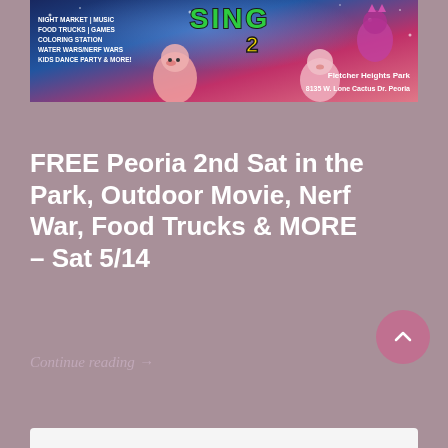[Figure (photo): Promotional banner for 'Sing 2' movie event at Fletcher Heights Park, Peoria. Features animated characters from the movie, text listing event activities (Night Market, Music, Food Trucks, Games, Coloring Station, Water Wars/Nerf Wars, Kids Dance Party & More), and venue address: 8135 W. Lone Cactus Dr. Peoria.]
FREE Peoria 2nd Sat in the Park, Outdoor Movie, Nerf War, Food Trucks & MORE – Sat 5/14
Continue reading →